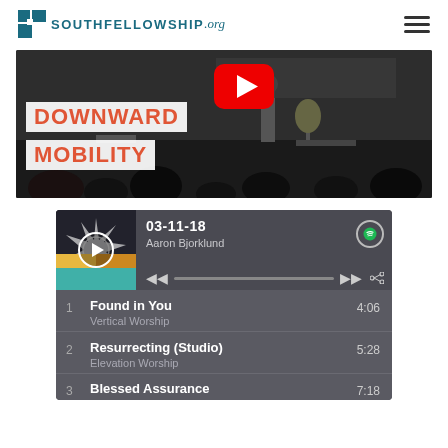SOUTHFELLOWSHIP.org
[Figure (screenshot): YouTube video thumbnail for 'Downward Mobility' sermon with play button overlay, showing a church stage scene]
[Figure (screenshot): Spotify music player widget showing date 03-11-18, artist Aaron Bjorklund, with playback controls and a progress bar]
1  Found in You  4:06  Vertical Worship
2  Resurrecting (Studio)  5:28  Elevation Worship
3  Blessed Assurance  7:18